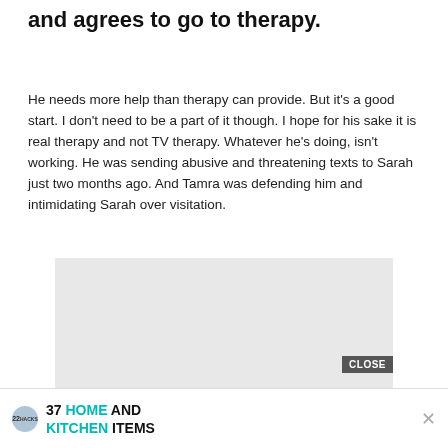Tamra's son Ryan has a tattoo removed and agrees to go to therapy.
He needs more help than therapy can provide. But it's a good start. I don't need to be a part of it though. I hope for his sake it is real therapy and not TV therapy. Whatever he's doing, isn't working. He was sending abusive and threatening texts to Sarah just two months ago. And Tamra was defending him and intimidating Sarah over visitation.
[Figure (other): Advertisement placeholder gray box with a CLOSE button overlay and a bottom ad strip showing '37 HOME AND KITCHEN ITEMS EVERYONE SHOULD OWN' with a '22 Hacks' logo and an X close button.]